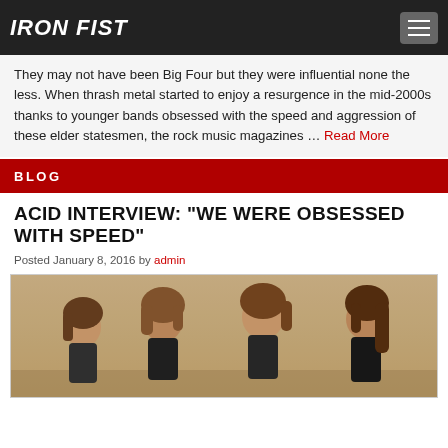IRON FIST
They may not have been Big Four but they were influential none the less. When thrash metal started to enjoy a resurgence in the mid-2000s thanks to younger bands obsessed with the speed and aggression of these elder statesmen, the rock music magazines … Read More
BLOG
ACID INTERVIEW: "WE WERE OBSESSED WITH SPEED"
Posted January 8, 2016 by admin
[Figure (photo): Black and white / warm-toned photo of a band with four members with long hair, seated together in casual poses]